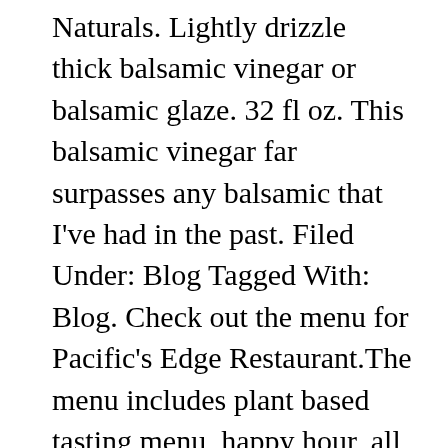Naturals. Lightly drizzle thick balsamic vinegar or balsamic glaze. 32 fl oz. This balsamic vinegar far surpasses any balsamic that I've had in the past. Filed Under: Blog Tagged With: Blog. Check out the menu for Pacific's Edge Restaurant.The menu includes plant based tasting menu, happy hour, all day brunch menu, brunch, thanksgiving menu, valentines day menu, easter sunday buffet, ... 0 Comments . Napa Valley Naturals Balsamic Vinegar, Grand Reserve. With ingredients sourced from around the world, you're guaranteed to enjoy the best flavor in every bottle. 12.7 oz. Sherry Reserve Vinegar, 12.7 fl oz. Each 12.7 fl. A relative of mine bought a case of it at the grocery store after trying it